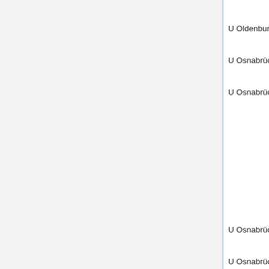| University | Field | Date | Name |
| --- | --- | --- | --- |
|  | algebra (W1) |  | Müll... |
| U Oldenburg | appl stat (W2) | May 31, 2014 |  |
| U Osnabrück | topology (W1/tt) | Dec 1, 2011 |  |
| U Osnabrück | appl anal (W3) | Feb 9, 2012 | Holg... Rau... [159... Amm... [160... Othr... Mar... Cha... Keh... Beh... Lore... |
| U Osnabrück | appl anal (W3) | Aug 2, 2013 | Lars... |
| U Osnabrück | stoch (W1/tt) | Dec 22, 2013 | Chri... Thä... [162... Hann... |